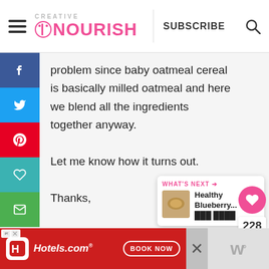Creative Nourish — SUBSCRIBE
problem since baby oatmeal cereal is basically milled oatmeal and here we blend all the ingredients together anyway.
Let me know how it turns out.

Thanks,

Ana
[Figure (screenshot): What's Next panel showing Healthy Blueberry... article thumbnail]
[Figure (infographic): Hotels.com advertisement banner with Book Now button]